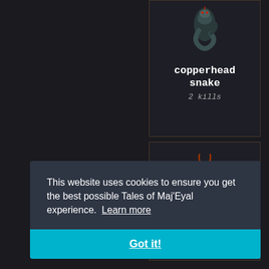[Figure (illustration): Game card showing a copperhead snake creature icon, dark background with orange border]
copperhead snake
2 kills
[Figure (illustration): Game card showing a fire drake hatchling creature icon (red dragon), dark background with orange border]
fire drake hatchling
2 kills
This website uses cookies to ensure you get the best possible Tales of Maj'Eyal experience.  Learn more
Got it!